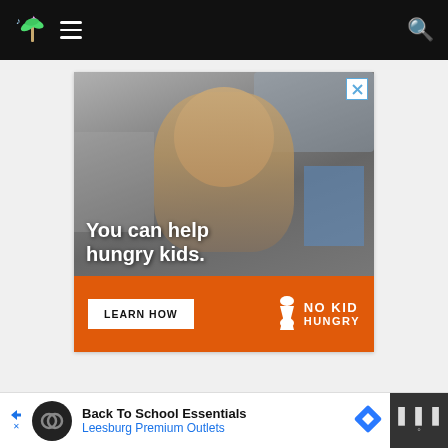[Figure (screenshot): Black navigation bar with palm tree logo (with music notes), hamburger menu icon on the left, and search icon on the right]
[Figure (photo): Advertisement for No Kid Hungry: photo of a young boy in a classroom with text 'You can help hungry kids.' overlaid, orange bottom bar with 'LEARN HOW' button and No Kid Hungry logo, close X button in top right corner]
[Figure (screenshot): Bottom browser ad bar: 'Back To School Essentials' from 'Leesburg Premium Outlets' with navigation arrow icon, circular logo, and Waze-style icon on far right with dark background]